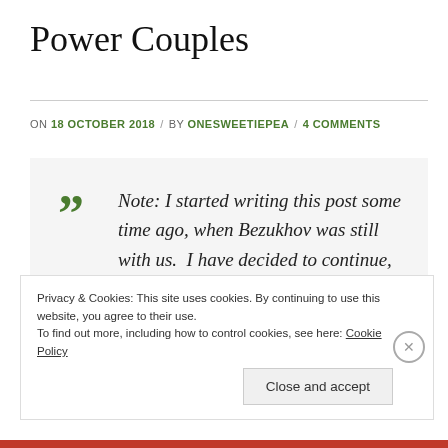Power Couples
ON 18 OCTOBER 2018 / BY ONESWEETIEPEA / 4 COMMENTS
Note: I started writing this post some time ago, when Bezukhov was still with us.  I have decided to continue, with some reworking of the text.
Privacy & Cookies: This site uses cookies. By continuing to use this website, you agree to their use.
To find out more, including how to control cookies, see here: Cookie Policy